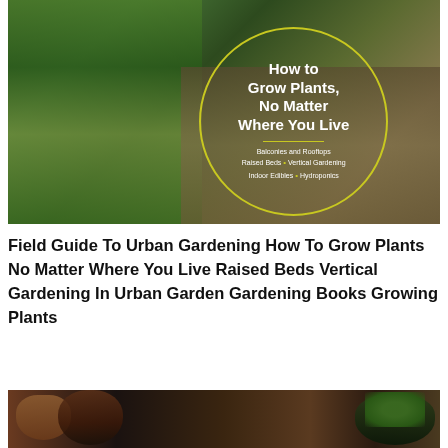[Figure (photo): Book cover of 'How to Grow Plants, No Matter Where You Live' showing an urban garden with plants on a wooden deck, containers, and a circular overlay with text listing topics: Balconies and Rooftops, Raised Beds, Vertical Gardening, Indoor Edibles, Hydroponics]
Field Guide To Urban Gardening How To Grow Plants No Matter Where You Live Raised Beds Vertical Gardening In Urban Garden Gardening Books Growing Plants
[Figure (photo): Close-up photo of terracotta and dark pots, one containing small succulent plants with green foliage, arranged on a surface]